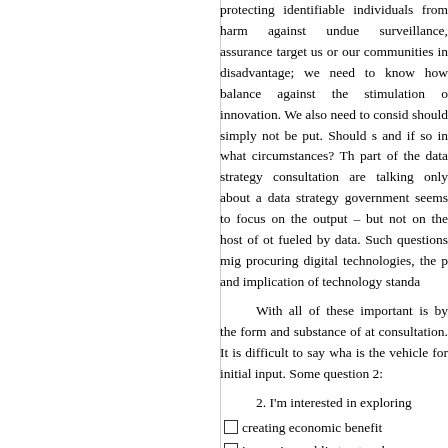protecting identifiable individuals from harm against undue surveillance, assurance target us or our communities in disadvantage; we need to know how balance against the stimulation o innovation. We also need to consid should simply not be put. Should s and if so in what circumstances? Th part of the data strategy consultation are talking only about a data strategy government seems to focus on the output – but not on the host of ot fueled by data. Such questions mig procuring digital technologies, the p and implication of technology standa
With all of these important is by the form and substance of at consultation. It is difficult to say wha is the vehicle for initial input. Some question 2:
2. I'm interested in exploring
creating economic benefit
increasing public trust and